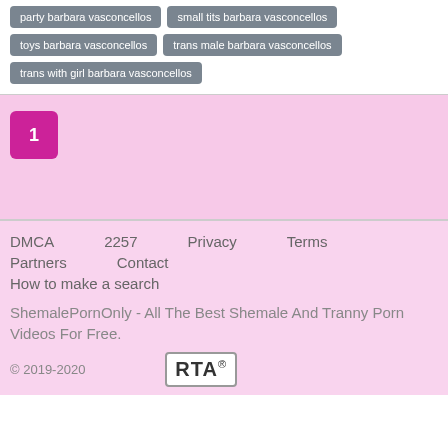party barbara vasconcellos
small tits barbara vasconcellos
toys barbara vasconcellos
trans male barbara vasconcellos
trans with girl barbara vasconcellos
1
DMCA  2257  Privacy  Terms  Partners  Contact  How to make a search

ShemalePornOnly - All The Best Shemale And Tranny Porn Videos For Free.

© 2019-2020  RTA®